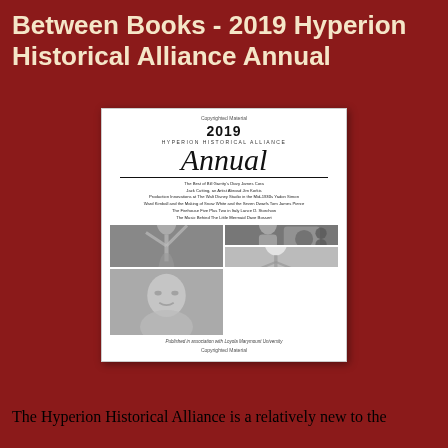Between Books - 2019 Hyperion Historical Alliance Annual
[Figure (illustration): Book cover of the 2019 Hyperion Historical Alliance Annual, showing the title, table of contents listings, and a collage of four black-and-white photographs including a mermaid sculpture, a man at a film projector, an animated character sketch, and a portrait of an older man.]
The Hyperion Historical Alliance is a relatively new to the